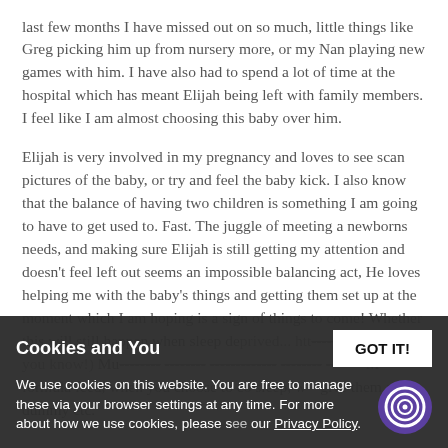last few months I have missed out on so much, little things like Greg picking him up from nursery more, or my Nan playing new games with him. I have also had to spend a lot of time at the hospital which has meant Elijah being left with family members. I feel like I am almost choosing this baby over him.
Elijah is very involved in my pregnancy and loves to see scan pictures of the baby, or try and feel the baby kick. I also know that the balance of having two children is something I am going to have to get used to. Fast. The juggle of meeting a newborns needs, and making sure Elijah is still getting my attention and doesn't feel left out seems an impossible balancing act, He loves helping me with the baby's things and getting them set up at the moment which I am hoping is a sign of things to come! Whether this will still happen when sleep deprived... htt-------- (will let you know!) Mu------ -------- ------------- -------- ------- M formula feed, when you choose to co sleep, w-- give them a dummy etc.
Cookies and You — We use cookies on this website. You are free to manage these via your browser settings at any time. For more about how we use cookies, please see our Privacy Policy. GOT IT!